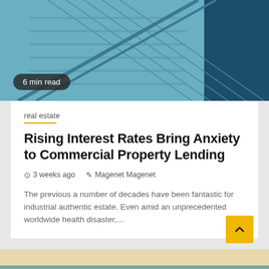[Figure (photo): Top image showing architectural stairs/escalator with teal and dark blue tones, with a '6 min read' badge overlay]
6 min read
real estate
Rising Interest Rates Bring Anxiety to Commercial Property Lending
3 weeks ago   Magenet Magenet
The previous a number of decades have been fantastic for industrial authentic estate. Even amid an unprecedented worldwide health disaster,...
[Figure (photo): Bottom partial image showing a landscape/aerial view with teal-green tones]